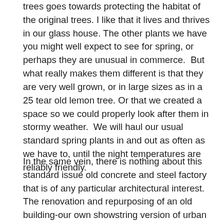trees goes towards protecting the habitat of the original trees. I like that it lives and thrives in our glass house. The other plants we have you might well expect to see for spring, or perhaps they are unusual in commerce.  But what really makes them different is that they are very well grown, or in large sizes as in a 25 tear old lemon tree. Or that we created a space so we could properly look after them in stormy weather.  We will haul our usual standard spring plants in and out as often as we have to, until the night temperatures are reliably friendly.
In the same vein, there is nothing about this standard issue old concrete and steel factory that is of any particular architectural interest.  The renovation and repurposing of an old building-our own showstring version of urban renewal-isn't particularly newsworthy either.  Lots of people do this.  But standing